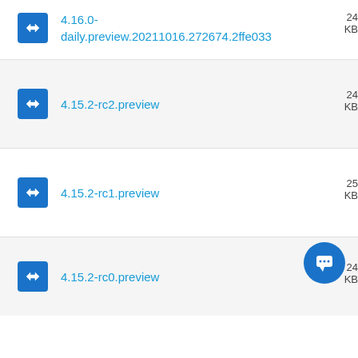4.16.0-daily.preview.20211016.272674.2ffe033
4.15.2-rc2.preview
4.15.2-rc1.preview
4.15.2-rc0.preview